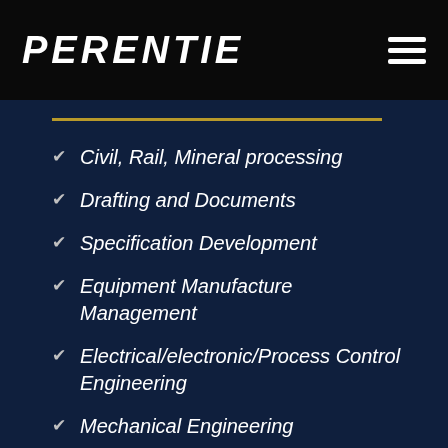PERENTIE
Civil, Rail, Mineral processing
Drafting and Documents
Specification Development
Equipment Manufacture Management
Electrical/electronic/Process Control Engineering
Mechanical Engineering